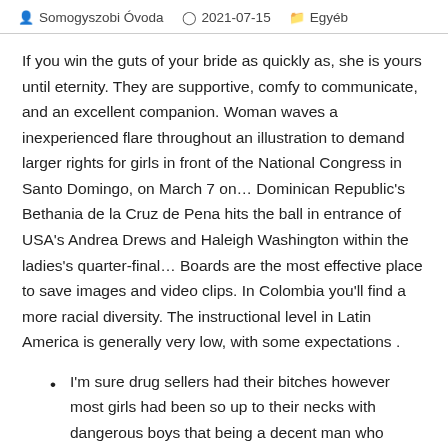Somogyszobi Óvoda   2021-07-15   Egyéb
If you win the guts of your bride as quickly as, she is yours until eternity. They are supportive, comfy to communicate, and an excellent companion. Woman waves a inexperienced flare throughout an illustration to demand larger rights for girls in front of the National Congress in Santo Domingo, on March 7 on… Dominican Republic's Bethania de la Cruz de Pena hits the ball in entrance of USA's Andrea Drews and Haleigh Washington within the ladies's quarter-final… Boards are the most effective place to save images and video clips. In Colombia you'll find a more racial diversity. The instructional level in Latin America is generally very low, with some expectations .
I'm sure drug sellers had their bitches however most girls had been so up to their necks with dangerous boys that being a decent man who reads was the new 'bad boy' for them.